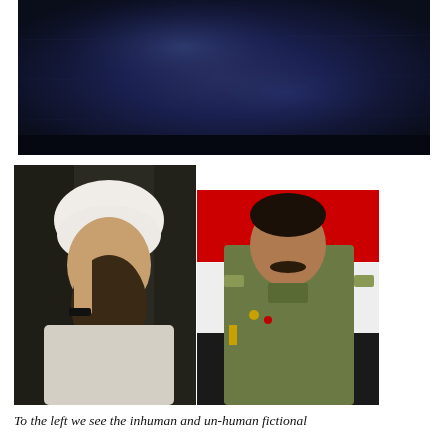[Figure (photo): Dark navy/blue toned image, appears to be a dark textured or fabric background, nearly black with blue hues]
[Figure (photo): Two side-by-side photographs: on the left, Osama bin Laden in white turban raising one finger against a dark patterned background; on the right, Saddam Hussein in military olive uniform standing in front of an Iraqi flag]
To the left we see the inhuman and un-human fictional